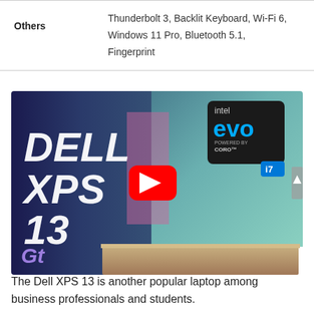|  |  |
| --- | --- |
| Others | Thunderbolt 3, Backlit Keyboard, Wi-Fi 6, Windows 11 Pro, Bluetooth 5.1, Fingerprint |
[Figure (photo): YouTube thumbnail showing Dell XPS 13 laptop review with Intel Evo Core i7 badge and red YouTube play button]
The Dell XPS 13 is another popular laptop among business professionals and students.